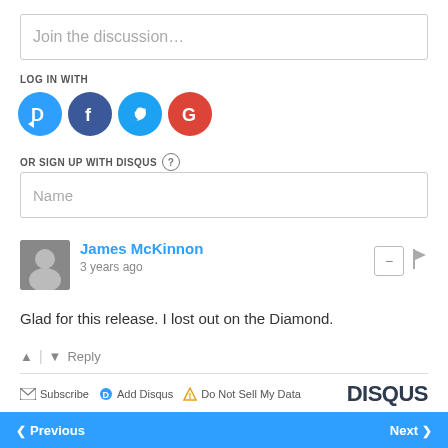Join the discussion…
LOG IN WITH
[Figure (infographic): Social login icons: Disqus (D), Facebook (F), Twitter bird, Google (G)]
OR SIGN UP WITH DISQUS ?
Name
James McKinnon
3 years ago
Glad for this release. I lost out on the Diamond.
↑ | ↓  Reply
Subscribe  Add Disqus  Do Not Sell My Data  DISQUS
Previous  Next